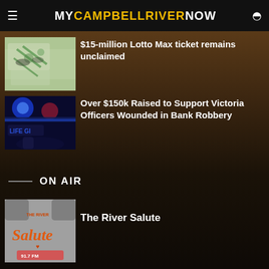MyCampbellRiverNow
[Figure (photo): Lottery tickets with green markings]
$15-million Lotto Max ticket remains unclaimed
[Figure (photo): Police car blue lights at night]
Over $150k Raised to Support Victoria Officers Wounded in Bank Robbery
ON AIR
[Figure (photo): The River Salute radio show logo with orange cursive text on grey background]
The River Salute